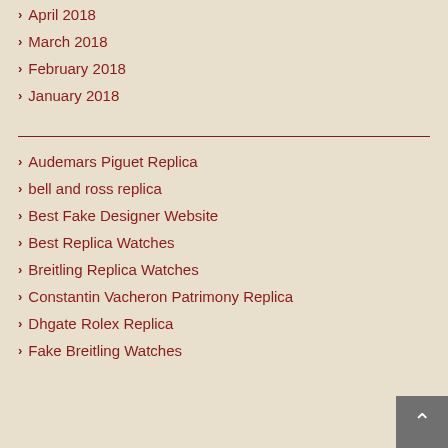April 2018
March 2018
February 2018
January 2018
Audemars Piguet Replica
bell and ross replica
Best Fake Designer Website
Best Replica Watches
Breitling Replica Watches
Constantin Vacheron Patrimony Replica
Dhgate Rolex Replica
Fake Breitling Watches